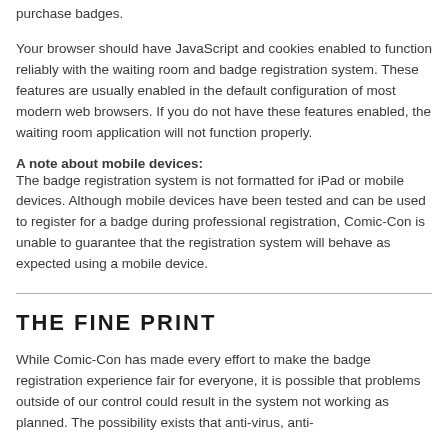purchase badges.
Your browser should have JavaScript and cookies enabled to function reliably with the waiting room and badge registration system. These features are usually enabled in the default configuration of most modern web browsers. If you do not have these features enabled, the waiting room application will not function properly.
A note about mobile devices:
The badge registration system is not formatted for iPad or mobile devices. Although mobile devices have been tested and can be used to register for a badge during professional registration, Comic-Con is unable to guarantee that the registration system will behave as expected using a mobile device.
THE FINE PRINT
While Comic-Con has made every effort to make the badge registration experience fair for everyone, it is possible that problems outside of our control could result in the system not working as planned. The possibility exists that anti-virus, anti-